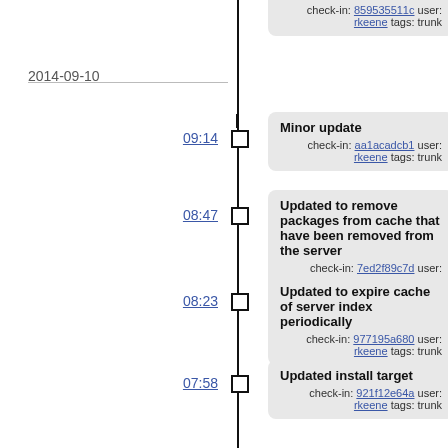check-in: 859535511c user: rkeene tags: trunk
2014-09-10
09:14
Minor update
check-in: aa1acadcb1 user: rkeene tags: trunk
08:47
Updated to remove packages from cache that have been removed from the server
check-in: 7ed2f89c7d user: rkeene tags: trunk
08:23
Updated to expire cache of server index periodically
check-in: 977195a680 user: rkeene tags: trunk
07:58
Updated install target
check-in: 921f12e64a user: rkeene tags: trunk
07:55
Added basic usage
check-in: 6a30dedf77 user: rkeene tags: trunk
07:54
Updated to not leak file descriptors for invalid sites
check-in: d0386440b2... user: rkeene tags: trunk